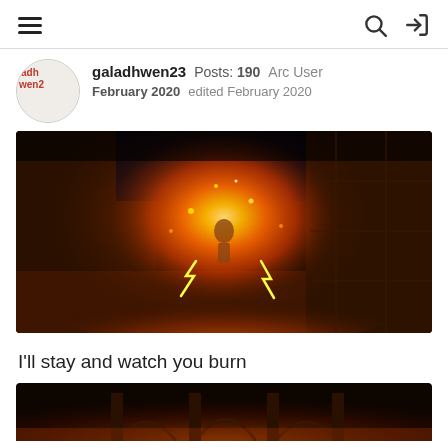Navigation header with hamburger menu, search icon, and login icon
galadhwen23  Posts: 190  Arc User
February 2020  edited February 2020
[Figure (screenshot): Game screenshot showing a character engulfed in orange fire and glowing energy effects inside a stone room with dramatic lighting]
I'll stay and watch you burn
[Figure (screenshot): Partial game screenshot showing a dark stone architectural interior with warm orange/amber lighting, partially visible at bottom of page]